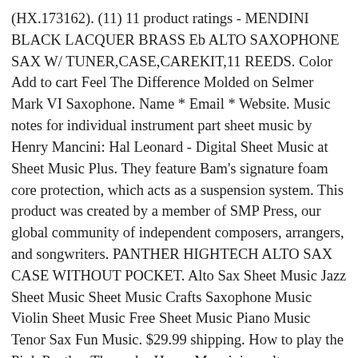(HX.173162). (11) 11 product ratings - MENDINI BLACK LACQUER BRASS Eb ALTO SAXOPHONE SAX W/ TUNER,CASE,CAREKIT,11 REEDS. Color Add to cart Feel The Difference Molded on Selmer Mark VI Saxophone. Name * Email * Website. Music notes for individual instrument part sheet music by Henry Mancini: Hal Leonard - Digital Sheet Music at Sheet Music Plus. They feature Bam's signature foam core protection, which acts as a suspension system. This product was created by a member of SMP Press, our global community of independent composers, arrangers, and songwriters. PANTHER HIGHTECH ALTO SAX CASE WITHOUT POCKET. Alto Sax Sheet Music Jazz Sheet Music Sheet Music Crafts Saxophone Music Violin Sheet Music Free Sheet Music Piano Music Tenor Sax Fun Music. $29.99 shipping. How to play the Pink Panther Theme by Henry Mancini on alto sax. SA80/II Alto Saxophone Body: Black lacquer finish, Keys: Gold lacquer, With engraving pattern, Tuning: Eb, High F# key, S80 C 4.8 out of 5 stars (4) Total Ratings 4, $269.95 New. Print and download The Pink Panther - Alto Saxophone Duet sheet music composed by Henry Mancini arranged for Alto Saxophone 1 or Alto Saxophone 2. I